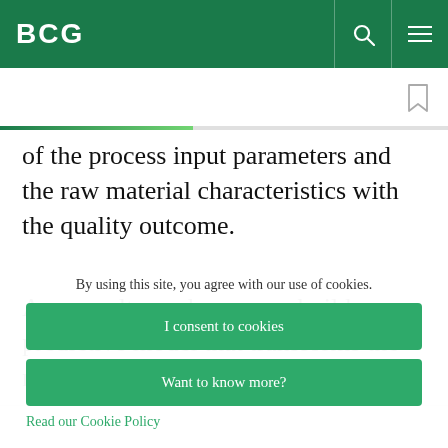BCG
of the process input parameters and the raw material characteristics with the quality outcome.
As a result, producers can build a predictive model that transforms the necessary quality of the final
By using this site, you agree with our use of cookies.
I consent to cookies
Want to know more?
Read our Cookie Policy